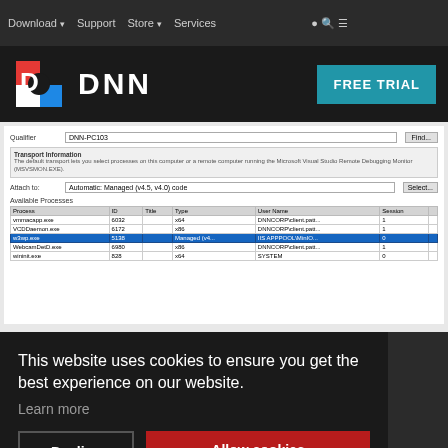Download ▾  Support  Store ▾  Services
[Figure (screenshot): DNN website header with logo (red/blue D icon and DNN text) and FREE TRIAL button in teal]
[Figure (screenshot): Visual Studio Attach to Process dialog showing process list with w3wp.exe highlighted in blue. Columns: Process, ID, Title, Type, User Name, Session. Processes shown: vmmaccapp.exe 6032 x64 DNNCORP\client.patt... 1, VCDDaemon.exe 6172 x86 DNNCORP\client.patt... 1, w3wp.exe 5138 Managed (v4... IIS APPPOOL\MinIO... 0, WebcamDetD.exe 6980 x86 DNNCORP\client.patt... 1, wininit.exe 828 x64 SYSTEM 0]
This website uses cookies to ensure you get the best experience on our website.
Learn more
Decline
Allow cookies
processes running at the same time. This would happen